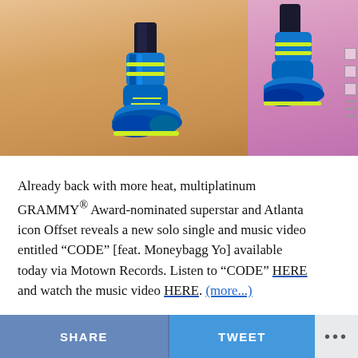[Figure (photo): Photo showing blue and yellow athletic shoes/boots against a light tan/peach floor on the left and a pink/magenta blurred background on the right. The shoes appear to be high-top boxing or martial arts footwear.]
Already back with more heat, multiplatinum GRAMMY® Award-nominated superstar and Atlanta icon Offset reveals a new solo single and music video entitled “CODE” [feat. Moneybagg Yo] available today via Motown Records. Listen to “CODE” HERE and watch the music video HERE. (more...)